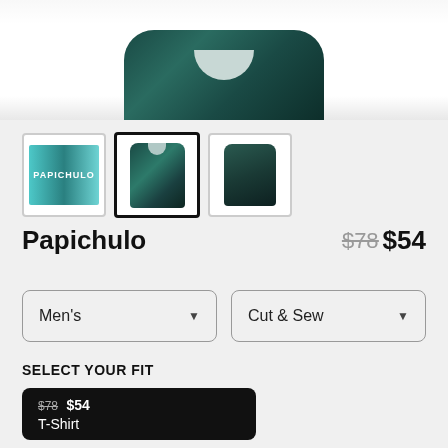[Figure (photo): Top portion of a dark teal tie-dye t-shirt with tropical leaf pattern, showing the collar area against white background]
[Figure (photo): Three product thumbnails: first shows Papichulo text logo in teal, second (selected) shows front view of dark teal t-shirt with leaf pattern, third shows back view of same shirt]
Papichulo
$78 $54
Men's
Cut & Sew
SELECT YOUR FIT
$78 $54 T-Shirt